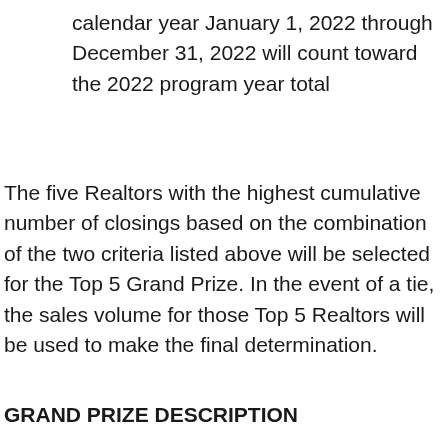calendar year January 1, 2022 through December 31, 2022 will count toward the 2022 program year total
The five Realtors with the highest cumulative number of closings based on the combination of the two criteria listed above will be selected for the Top 5 Grand Prize. In the event of a tie, the sales volume for those Top 5 Realtors will be used to make the final determination.
GRAND PRIZE DESCRIPTION